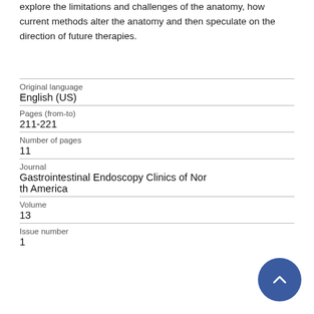explore the limitations and challenges of the anatomy, how current methods alter the anatomy and then speculate on the direction of future therapies.
| Original language | English (US) |
| Pages (from-to) | 211-221 |
| Number of pages | 11 |
| Journal | Gastrointestinal Endoscopy Clinics of North America |
| Volume | 13 |
| Issue number | 1 |